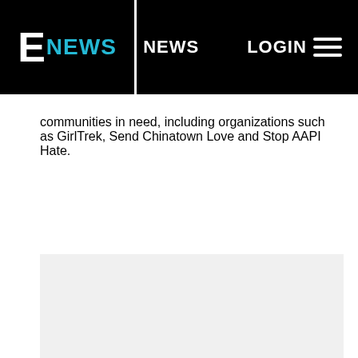E NEWS   NEWS   LOGIN
communities in need, including organizations such as GirlTrek, Send Chinatown Love and Stop AAPI Hate.
[Figure (other): Light gray placeholder image/advertisement block below article text]